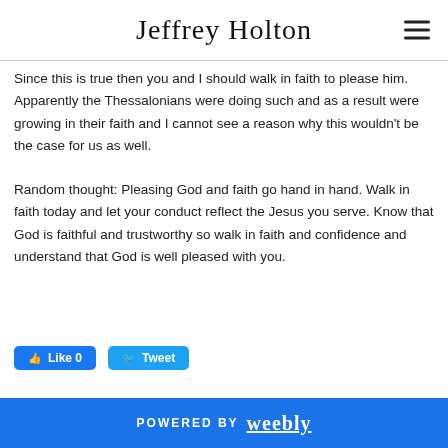Jeffrey Holton
Since this is true then you and I should walk in faith to please him.  Apparently the Thessalonians were doing such and as a result were growing in their faith and I cannot see a reason why this wouldn't be the case for us as well.
Random thought: Pleasing God and faith go hand in hand.  Walk in faith today and let your conduct reflect the Jesus you serve.  Know that God is faithful and trustworthy so walk in faith and confidence and understand that God is well pleased with you.
POWERED BY weebly